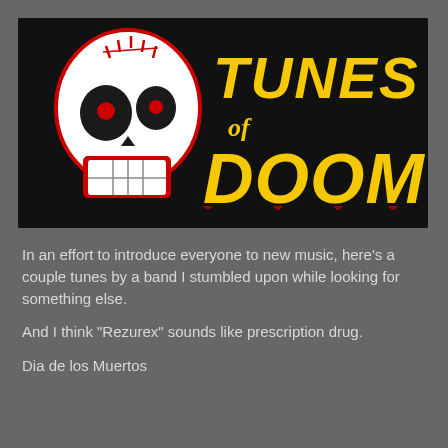[Figure (logo): Tunes of Doom logo on black background: a stylized sugar skull (calavera) in white and red on the left, and large yellow/orange decorative text reading 'Tunes of Doom' on the right]
In an effort to introduce everyone to new music, here's a couple tunes by a band I stumbled upon while looking for something else.
And I think "Rezurex" sounds like prescription drug.
Dia de los Muertos